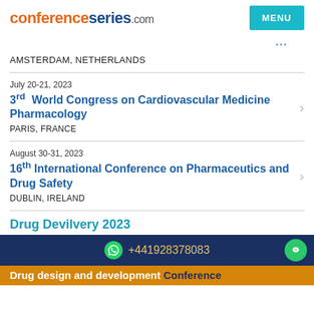conferenceseries.com
AMSTERDAM, NETHERLANDS
July 20-21, 2023
3rd World Congress on Cardiovascular Medicine Pharmacology
PARIS, FRANCE
August 30-31, 2023
16th International Conference on Pharmaceutics and Drug Safety
DUBLIN, IRELAND
Drug Devilvery 2023
+441928378083
Drug design and development Conference